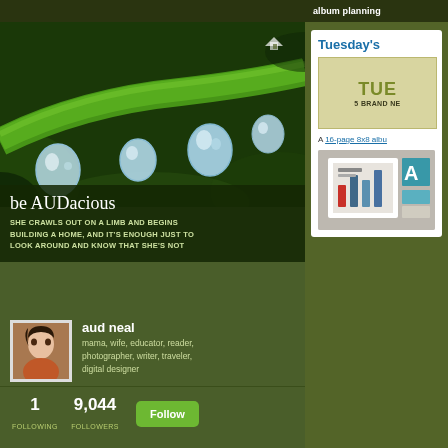[Figure (screenshot): Screenshot of a blog/social profile page. Left side shows a hero photo of water droplets on a green leaf, below which is text overlay reading 'be AUDacious' and a quote. Profile section shows avatar of 'aud neal' with bio. Stats show 1 Following, 9,044 Followers, and a Follow button. Right side shows a sidebar with 'album planning' header and a white card showing 'Tuesday's' heading, a tan box with TUE and '5 BRAND NE' text, a link about '16-page 8x8 albu', and a partial image below.]